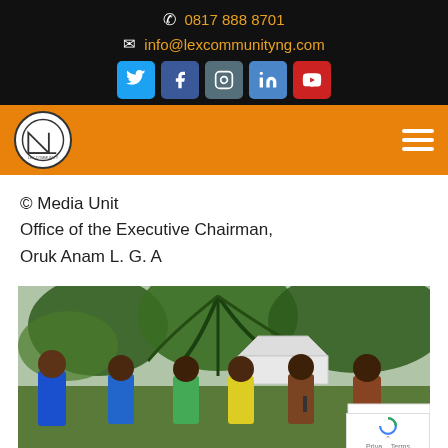0817 888 8701
info@lexcommunityng.com
[Figure (other): Social media icons: Twitter, Facebook, Instagram, LinkedIn, YouTube]
[Figure (logo): Lex Community logo in orange navigation bar with hamburger menu]
© Media Unit
Office of the Executive Chairman,
Oruk Anam L. G. A
[Figure (photo): Outdoor photo showing five people standing in front of palm trees and a white tent. Left person wearing blue Superdry t-shirt, others in various colored tops. Man on right appears shirtless.]